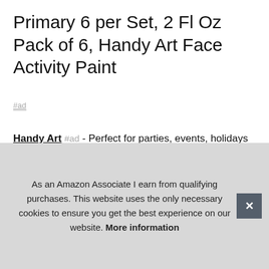Primary 6 per Set, 2 Fl Oz Pack of 6, Handy Art Face Activity Paint
#ad
Handy Art #ad - Perfect for parties, events, holidays and more. Designed for children ages 4 and above. Paraben-free, fragrance-free formula is safe for use on face and body. Easy to clean - washes away with soap and water.
More information
As an Amazon Associate I earn from qualifying purchases. This website uses the only necessary cookies to ensure you get the best experience on our website. More information